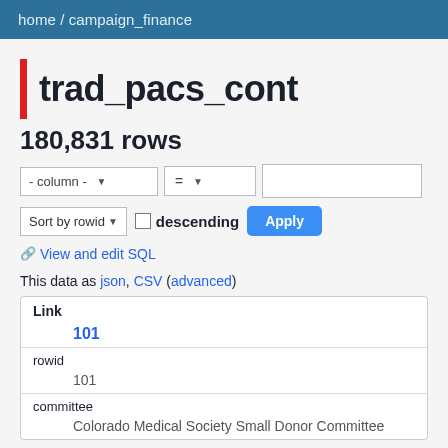home / campaign_finance
trad_pacs_cont
180,831 rows
[Figure (screenshot): Filter controls: column selector dropdown set to '- column -', operator dropdown set to '=', and a text input field; Sort by rowid dropdown, descending checkbox, and Apply button]
🔗 View and edit SQL
This data as json, CSV (advanced)
| Field | Value |
| --- | --- |
| Link | 101 |
| rowid | 101 |
| committee | Colorado Medical Society Small Donor Committee |